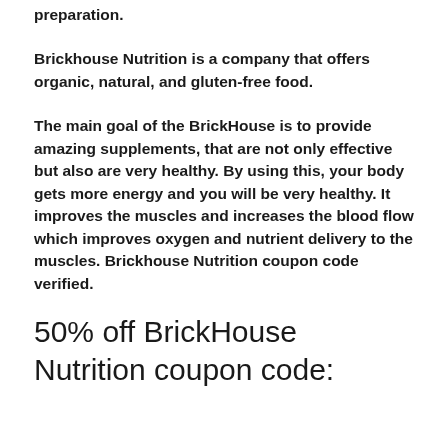preparation.
Brickhouse Nutrition is a company that offers organic, natural, and gluten-free food.
The main goal of the BrickHouse is to provide amazing supplements, that are not only effective but also are very healthy. By using this, your body gets more energy and you will be very healthy. It improves the muscles and increases the blood flow which improves oxygen and nutrient delivery to the muscles. Brickhouse Nutrition coupon code verified.
50% off BrickHouse Nutrition coupon code: